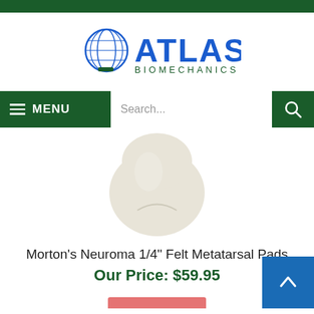Atlas Biomechanics
[Figure (logo): Atlas Biomechanics logo with globe and figure holding world, blue and green colors]
[Figure (photo): Morton's Neuroma 1/4 inch felt metatarsal pad, cream/beige colored oval foot pad]
Morton's Neuroma 1/4" Felt Metatarsal Pads
Our Price: $59.95